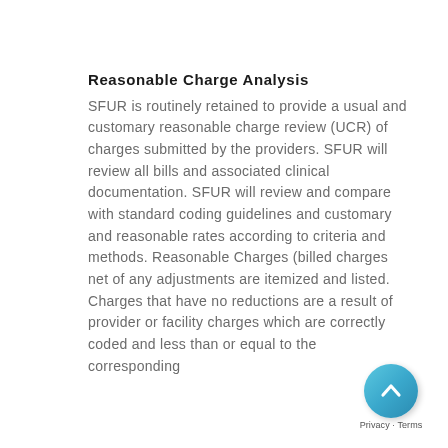Reasonable Charge Analysis
SFUR is routinely retained to provide a usual and customary reasonable charge review (UCR) of charges submitted by the providers. SFUR will review all bills and associated clinical documentation. SFUR will review and compare with standard coding guidelines and customary and reasonable rates according to criteria and methods. Reasonable Charges (billed charges net of any adjustments are itemized and listed. Charges that have no reductions are a result of provider or facility charges which are correctly coded and less than or equal to the corresponding
[Figure (logo): Blue circular badge with upward-pointing chevron arrow icon and Privacy - Terms label below]